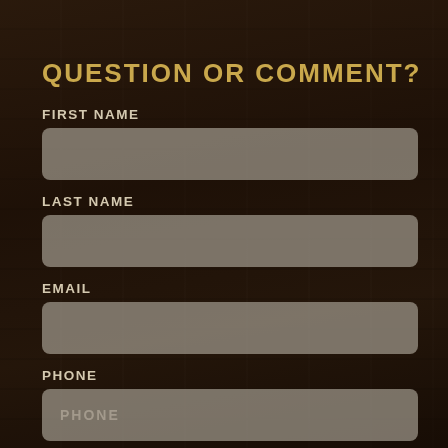QUESTION OR COMMENT?
FIRST NAME
LAST NAME
EMAIL
PHONE
REASON